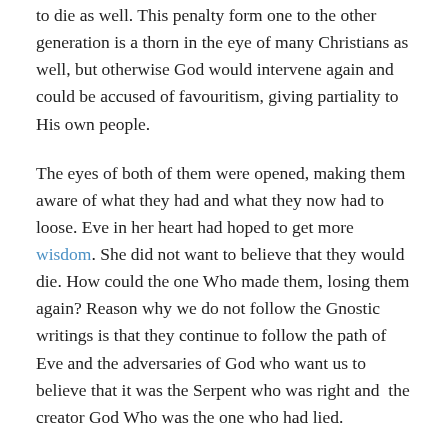to die as well. This penalty form one to the other generation is a thorn in the eye of many Christians as well, but otherwise God would intervene again and could be accused of favouritism, giving partiality to His own people.
The eyes of both of them were opened, making them aware of what they had and what they now had to loose. Eve in her heart had hoped to get more wisdom. She did not want to believe that they would die. How could the one Who made them, losing them again? Reason why we do not follow the Gnostic writings is that they continue to follow the path of Eve and the adversaries of God who want us to believe that it was the Serpent who was right and the creator God Who was the one who had lied.
He said that Adam and Eve would die if he